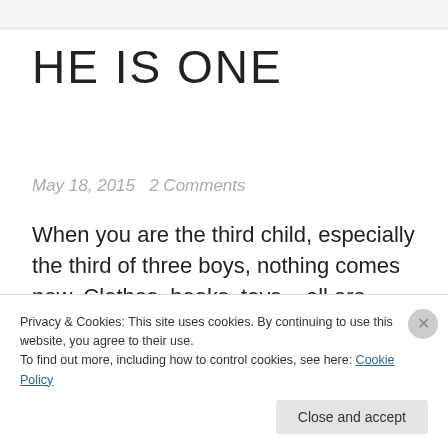HE IS ONE
May 18, 2015  2 Comments
When you are the third child, especially the third of three boys, nothing comes new. Clothes, books, toys – all are gently loved or
Privacy & Cookies: This site uses cookies. By continuing to use this website, you agree to their use.
To find out more, including how to control cookies, see here: Cookie Policy
Close and accept